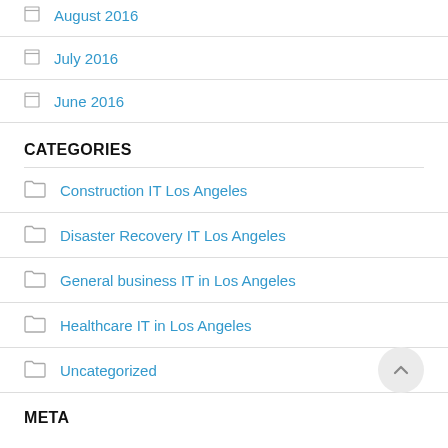August 2016
July 2016
June 2016
CATEGORIES
Construction IT Los Angeles
Disaster Recovery IT Los Angeles
General business IT in Los Angeles
Healthcare IT in Los Angeles
Uncategorized
META
Log in